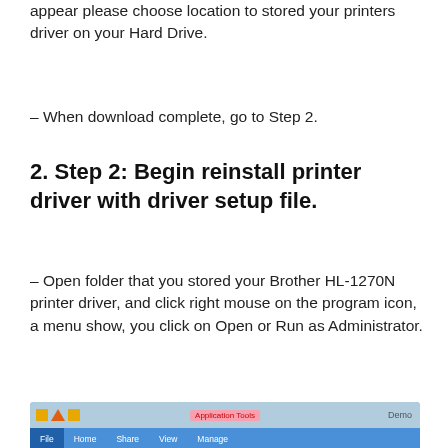appear please choose location to stored your printers driver on your Hard Drive.
– When download complete, go to Step 2.
2. Step 2: Begin reinstall printer driver with driver setup file.
– Open folder that you stored your Brother HL-1270N printer driver, and click right mouse on the program icon, a menu show, you click on Open or Run as Administrator.
[Figure (screenshot): Windows File Explorer window showing Application Tools ribbon with File, Home, Share, View, Manage tabs and a Demo label in the top right corner.]